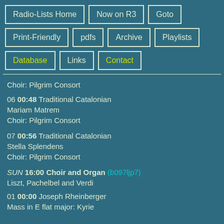Radio-Lists Home
Now on R3
Goto
Print-Friendly
pdfs
Archive
Playlists
Database
Links
Contact
Choir: Pilgrim Consort
06 00:48 Traditional Catalonian
Mariam Matrem
Choir: Pilgrim Consort
07 00:56 Traditional Catalonian
Stella Splendens
Choir: Pilgrim Consort
SUN 16:00 Choir and Organ (b097ljp7)
Liszt, Pachelbel and Verdi
01 00:00 Joseph Rheinberger
Mass in E flat major: Kyrie